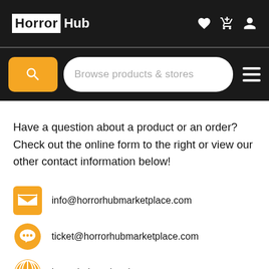Horror Hub
[Figure (screenshot): Search bar with orange search button and 'Browse products & stores' placeholder text, and a hamburger menu icon]
Have a question about a product or an order? Check out the online form to the right or view our other contact information below!
info@horrorhubmarketplace.com
ticket@horrorhubmarketplace.com
horrorhubmarketplace.com